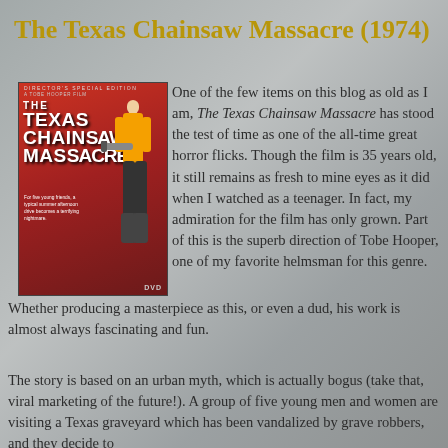The Texas Chainsaw Massacre (1974)
[Figure (photo): DVD cover of The Texas Chainsaw Massacre (1974) - Director's Special Edition. Shows the iconic horror film cover with red background, title text, a figure with a chainsaw, and tagline text.]
One of the few items on this blog as old as I am, The Texas Chainsaw Massacre has stood the test of time as one of the all-time great horror flicks. Though the film is 35 years old, it still remains as fresh to mine eyes as it did when I watched as a teenager. In fact, my admiration for the film has only grown. Part of this is the superb direction of Tobe Hooper, one of my favorite helmsman for this genre. Whether producing a masterpiece as this, or even a dud, his work is almost always fascinating and fun.
The story is based on an urban myth, which is actually bogus (take that, viral marketing of the future!). A group of five young men and women are visiting a Texas graveyard which has been vandalized by grave robbers, and they decide to